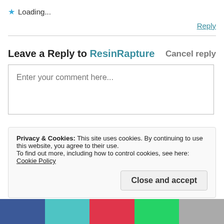★ Loading...
Reply
Leave a Reply to ResinRapture
Cancel reply
Enter your comment here...
Privacy & Cookies: This site uses cookies. By continuing to use this website, you agree to their use.
To find out more, including how to control cookies, see here: Cookie Policy
Close and accept